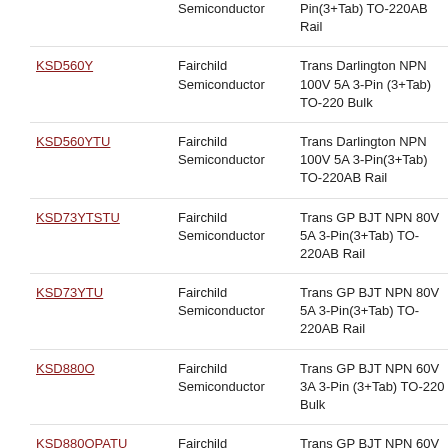| Part | Manufacturer | Description | Link |
| --- | --- | --- | --- |
| [partial top row] | Semiconductor | Pin(3+Tab) TO-220AB Rail | http://w |
| KSD560Y | Fairchild Semiconductor | Trans Darlington NPN 100V 5A 3-Pin (3+Tab) TO-220 Bulk | http://w |
| KSD560YTU | Fairchild Semiconductor | Trans Darlington NPN 100V 5A 3-Pin(3+Tab) TO-220AB Rail | http://w |
| KSD73YTSTU | Fairchild Semiconductor | Trans GP BJT NPN 80V 5A 3-Pin(3+Tab) TO-220AB Rail | http://w |
| KSD73YTU | Fairchild Semiconductor | Trans GP BJT NPN 80V 5A 3-Pin(3+Tab) TO-220AB Rail | http://w |
| KSD880O | Fairchild Semiconductor | Trans GP BJT NPN 60V 3A 3-Pin (3+Tab) TO-220 Bulk | http://w |
| KSD880OPATU | Fairchild Semiconductor | Trans GP BJT NPN 60V 3A 3-Pin (3+Tab) TO-220 Rail | http://w |
| KSD880Y | Fairchild Semiconductor | Trans GP BJT NPN 60V 3A 3-Pin (3+Tab) TO-220 Bulk | http://w |
| KSD880YTU | Fairchild Semiconductor | Trans GP BJT NPN 60V 3A 3-Pin... | http://w |